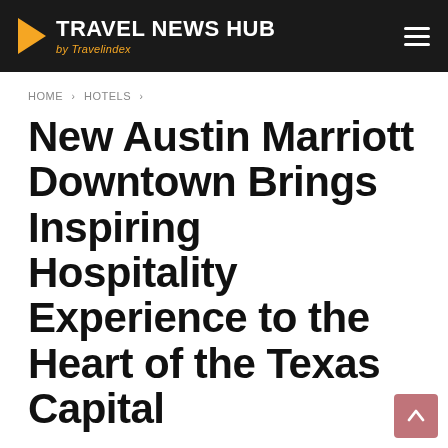TRAVEL NEWS HUB by Travelindex
HOME > HOTELS >
New Austin Marriott Downtown Brings Inspiring Hospitality Experience to the Heart of the Texas Capital
The new Austin Marriott Downtown opens today, steps away from the most popular downtown tourist attractions and landmarks. The hotel...